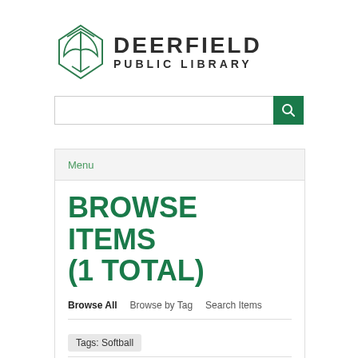[Figure (logo): Deerfield Public Library logo with a green stylized book/leaf icon and text 'DEERFIELD PUBLIC LIBRARY']
Menu
BROWSE ITEMS (1 TOTAL)
Browse All   Browse by Tag   Search Items
Tags: Softball